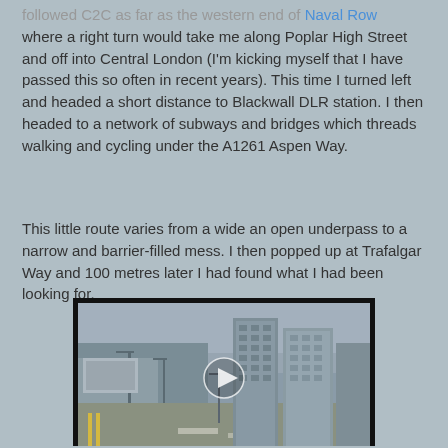followed C2C as far as the western end of Naval Row where a right turn would take me along Poplar High Street and off into Central London (I'm kicking myself that I have passed this so often in recent years). This time I turned left and headed a short distance to Blackwall DLR station. I then headed to a network of subways and bridges which threads walking and cycling under the A1261 Aspen Way.
This little route varies from a wide an open underpass to a narrow and barrier-filled mess. I then popped up at Trafalgar Way and 100 metres later I had found what I had been looking for.
[Figure (photo): Video thumbnail showing a street scene with tall modern buildings on the right and a road with yellow lines visible. A play button icon is overlaid in the center. The scene appears to be in Docklands/East London area near Trafalgar Way.]